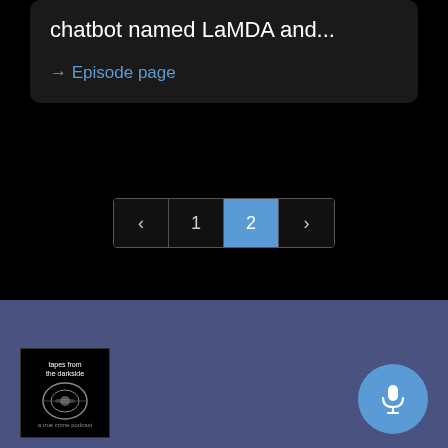chatbot named LaMDA and...
→ Episode page
[Figure (screenshot): Pagination controls showing back arrow, page 1, page 2 (active/highlighted in blue), and forward arrow]
[Figure (logo): Podcast logo thumbnail - black and white image with text and illustration, appears to be a true crime podcast]
[Figure (other): Microphone button - blue circular button with white microphone icon]